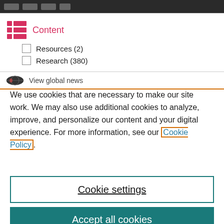[Figure (screenshot): Top navigation bar with dark background and grey button pills]
Content
Resources (2)
Research (380)
View global news
We use cookies that are necessary to make our site work. We may also use additional cookies to analyze, improve, and personalize our content and your digital experience. For more information, see our Cookie Policy.
Cookie settings
Accept all cookies